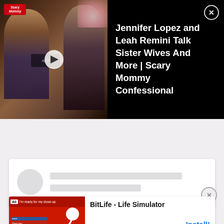[Figure (screenshot): Video thumbnail showing two women (Jennifer Lopez and Leah Remini) with a play button overlay and Scary Mommy logo]
Jennifer Lopez and Leah Remini Talk Sister Wives And More | Scary Mommy Confessional
[Figure (screenshot): Loading card placeholder with grey circle avatar and two grey content lines]
[Figure (screenshot): BitLife - Life Simulator ad banner with red background, sperm logo, and Install button]